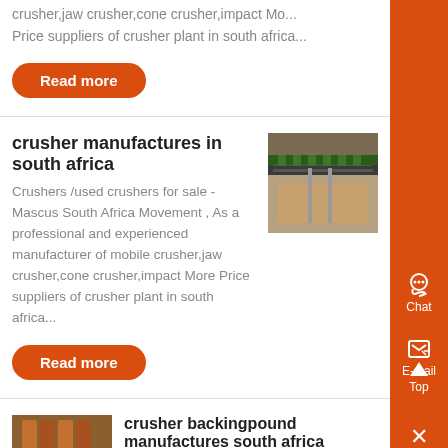crusher,jaw crusher,cone crusher,impact Mo... Price suppliers of crusher plant in south africa...
Read more
crusher manufactures in south africa
Crushers /used crushers for sale - Mascus South Africa Movement , As a professional and experienced manufacturer of mobile crusher,jaw crusher,cone crusher,impact More Price suppliers of crusher plant in south africa...
Read more
[Figure (photo): Industrial crusher machine, top view showing conveyor belt and metal components]
crusher backingpound manufactures south africa
03-08-2020- Companies and Suppliers in South Africa LC Crushers was created 20
[Figure (photo): Industrial crusher or jaw plate machinery photographed at angle, orange/rust colored metallic parts]